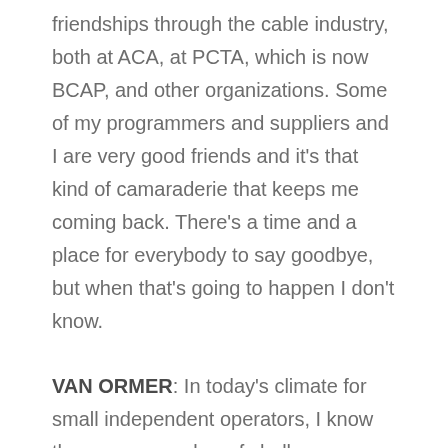friendships through the cable industry, both at ACA, at PCTA, which is now BCAP, and other organizations. Some of my programmers and suppliers and I are very good friends and it's that kind of camaraderie that keeps me coming back. There's a time and a place for everybody to say goodbye, but when that's going to happen I don't know.
VAN ORMER: In today's climate for small independent operators, I know there are a number of challenges. You've addressed a few of them. Are there any other significant ones